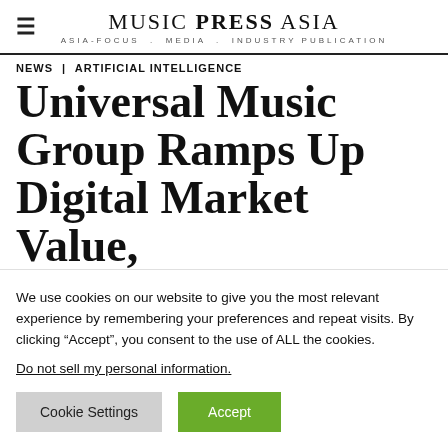MUSIC PRESS ASIA — ASIA-FOCUS . MEDIA . INDUSTRY PUBLICATION
NEWS | ARTIFICIAL INTELLIGENCE
Universal Music Group Ramps Up Digital Market Value, Partnering With A...
We use cookies on our website to give you the most relevant experience by remembering your preferences and repeat visits. By clicking “Accept”, you consent to the use of ALL the cookies.
Do not sell my personal information.